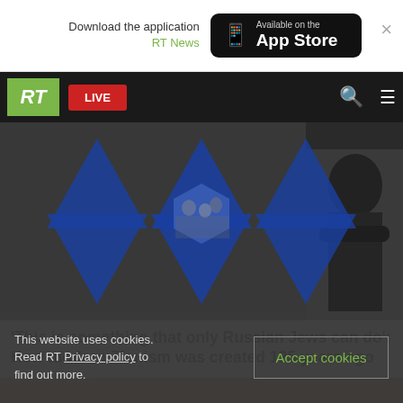[Figure (screenshot): App store download banner: 'Download the application RT News' with 'Available on the App Store' button and close X]
[Figure (screenshot): RT website navigation bar with green RT logo, red LIVE button, search icon, and hamburger menu]
[Figure (photo): Hero image showing Star of David in blue overlaid on black and white photograph, with figure of a man in suit on the right]
'This is something that only Russian Jews can do': How modern Zionism was created 125 years ago
FEATURE
This website uses cookies. Read RT Privacy policy to find out more.
Accept cookies